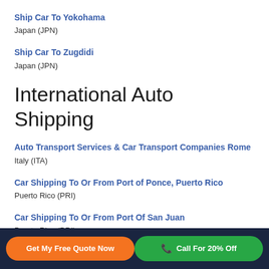Ship Car To Yokohama
Japan (JPN)
Ship Car To Zugdidi
Japan (JPN)
International Auto Shipping
Auto Transport Services & Car Transport Companies Rome
Italy (ITA)
Car Shipping To Or From Port of Ponce, Puerto Rico
Puerto Rico (PRI)
Car Shipping To Or From Port Of San Juan
Puerto Rico (PRI)
Get My Free Quote Now | Call For 20% Off